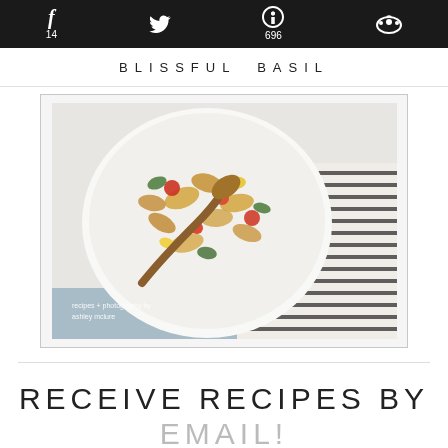f 14  [twitter icon]  p 696  [reddit icon]  BLISSFUL BASIL
[Figure (photo): Cookbook cover photo showing pasta salad with colorful vegetables and a wooden spoon on a striped cloth, with light blue bottom strip and small text reading 'recipes + photography by ashley mclure']
RECEIVE RECIPES BY EMAIL!
First Name